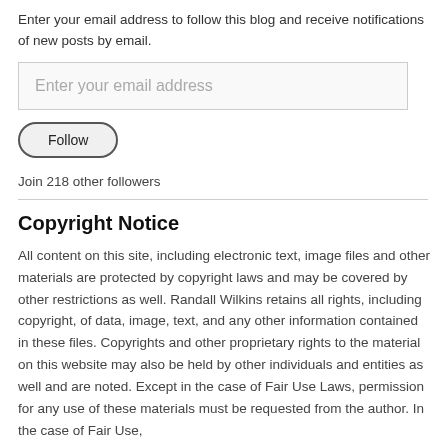Enter your email address to follow this blog and receive notifications of new posts by email.
[Figure (other): Email input field with placeholder text 'Enter your email address']
[Figure (other): Follow button with rounded pill border]
Join 218 other followers
Copyright Notice
All content on this site, including electronic text, image files and other materials are protected by copyright laws and may be covered by other restrictions as well. Randall Wilkins retains all rights, including copyright, of data, image, text, and any other information contained in these files. Copyrights and other proprietary rights to the material on this website may also be held by other individuals and entities as well and are noted. Except in the case of Fair Use Laws, permission for any use of these materials must be requested from the author. In the case of Fair Use,